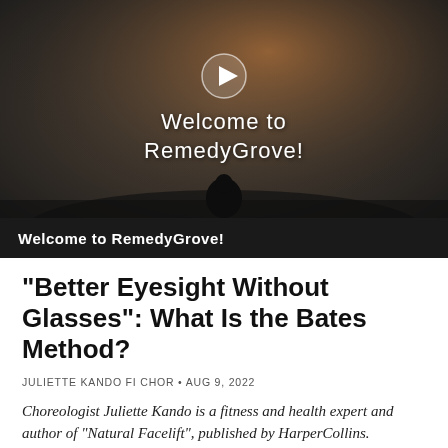[Figure (screenshot): Video thumbnail showing a silhouette of a person meditating by the ocean at sunset, with text 'Welcome to RemedyGrove!' and a play button overlay]
Welcome to RemedyGrove!
"Better Eyesight Without Glasses": What Is the Bates Method?
JULIETTE KANDO FI CHOR • AUG 9, 2022
Choreologist Juliette Kando is a fitness and health expert and author of "Natural Facelift", published by HarperCollins.